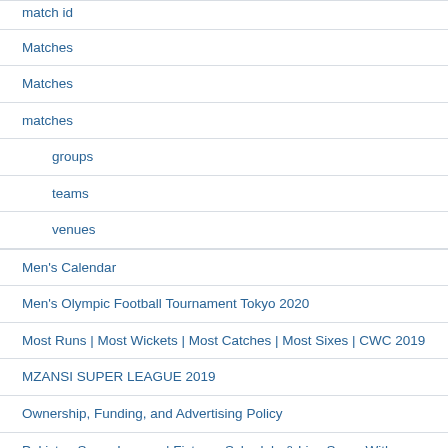match id
Matches
Matches
matches
groups
teams
venues
Men's Calendar
Men's Olympic Football Tournament Tokyo 2020
Most Runs | Most Wickets | Most Catches | Most Sixes | CWC 2019
MZANSI SUPER LEAGUE 2019
Ownership, Funding, and Advertising Policy
Pakistan Super League | Fixtures Schedule & Live Score With commentary
player predictions